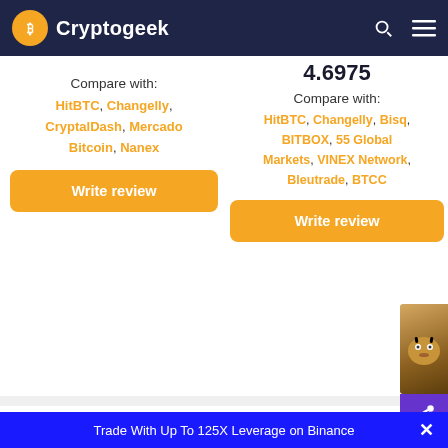Cryptogeek
Compare with: HitBTC, Changelly, CryptalDash, Mercado Bitcoin, Nanex
Write review
4.6975
Compare with: HitBTC, Changelly, Bisq, BITBOX, 55 Global Markets, VINEX Network, Bleutrade, BTCC
Write review
On this page, you can compare Bibox with Digifinex. Which exchange is better to use? You can compare exchange characteristics, fees, trading features, safety, and social media presence.
Trade With Up To 125X Leverage on Binance